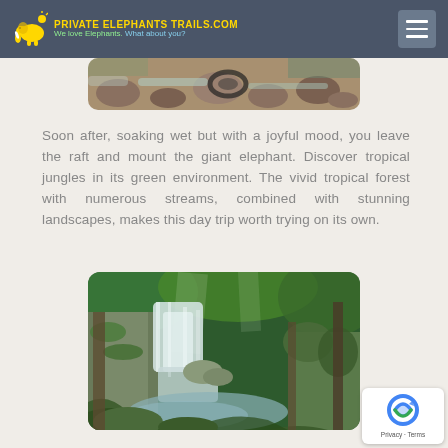PRIVATE ELEPHANTS TRAILS.COM — We love Elephants. What about you?
[Figure (photo): Partial view of a rocky stream with stones and water, top portion visible]
Soon after, soaking wet but with a joyful mood, you leave the raft and mount the giant elephant. Discover tropical jungles in its green environment. The vivid tropical forest with numerous streams, combined with stunning landscapes, makes this day trip worth trying on its own.
[Figure (photo): A tropical waterfall cascading over mossy rocks surrounded by lush green jungle vegetation]